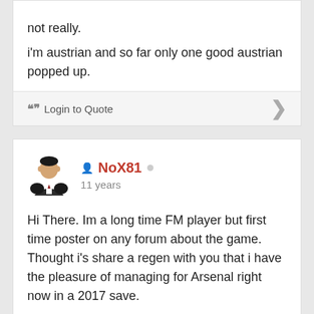not really.
i'm austrian and so far only one good austrian popped up.
"" Login to Quote
[Figure (illustration): User avatar for NoX81 - illustrated figure in suit]
NoX81
11 years
Hi There. Im a long time FM player but first time poster on any forum about the game. Thought i's share a regen with you that i have the pleasure of managing for Arsenal right now in a 2017 save.
This kid broke Cesc Fabregas's record as being the